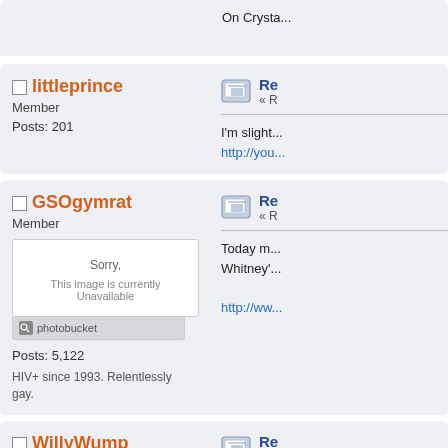On Crysta...
littleprince
Member
Posts: 201
Re...
« R...
I'm slight...
http://you...
GSOgymrat
Member
[Figure (screenshot): Photobucket image unavailable placeholder]
Posts: 5,122
HIV+ since 1993. Relentlessly gay.
Re...
« R...
Today m...
Whitney'...

http://ww...
WillyWump
Member
Re...
« R...